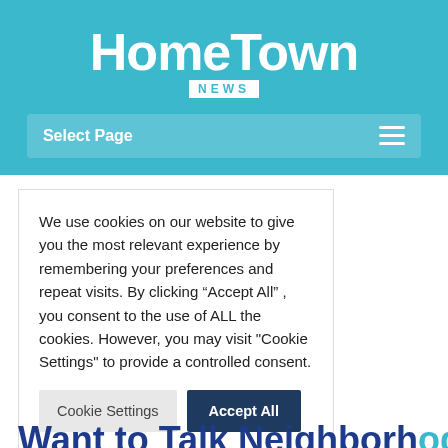HomeTown NEWS
Select Page
We use cookies on our website to give you the most relevant experience by remembering your preferences and repeat visits. By clicking “Accept All”, you consent to the use of ALL the cookies. However, you may visit "Cookie Settings" to provide a controlled consent.
Cookie Settings | Accept All
Want to Talk Neighborhood